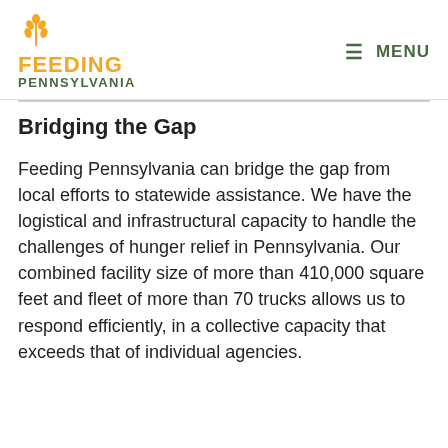FEEDING PENNSYLVANIA | MENU
Bridging the Gap
Feeding Pennsylvania can bridge the gap from local efforts to statewide assistance. We have the logistical and infrastructural capacity to handle the challenges of hunger relief in Pennsylvania. Our combined facility size of more than 410,000 square feet and fleet of more than 70 trucks allows us to respond efficiently, in a collective capacity that exceeds that of individual agencies.